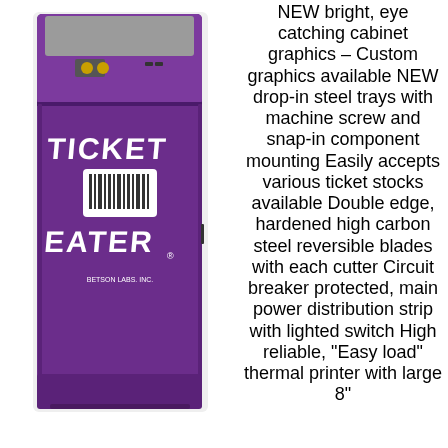[Figure (photo): Purple Ticket Eater arcade ticket redemption machine cabinet with 'Ticket Eater' branding in white stylized text on the front panel, with a barcode graphic in the center.]
NEW bright, eye catching cabinet graphics – Custom graphics available NEW drop-in steel trays with machine screw and snap-in component mounting Easily accepts various ticket stocks available Double edge, hardened high carbon steel reversible blades with each cutter Circuit breaker protected, main power distribution strip with lighted switch High reliable, "Easy load" thermal printer with large 8"